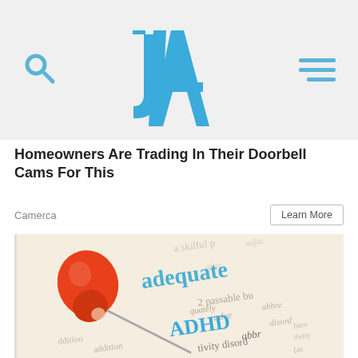JA (logo with search and menu icons)
Homeowners Are Trading In Their Doorbell Cams For This
Camerca
Learn More
[Figure (photo): Close-up photo of a dictionary page showing the word 'ADHD' highlighted in blue text, with an orange/red pushpin placed on the page. Surrounding text includes 'adequate', 'passable', 'adverb', 'abbreviation', 'disorder', 'addition' and other dictionary definitions.]